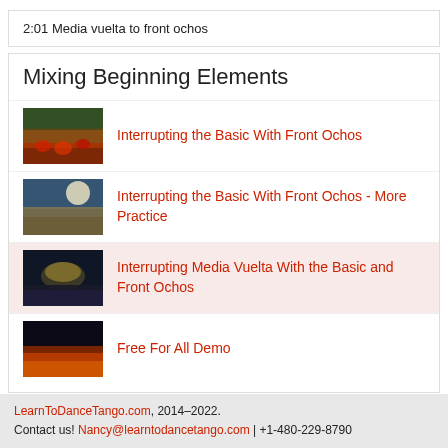2:01 Media vuelta to front ochos
Mixing Beginning Elements
Interrupting the Basic With Front Ochos
Interrupting the Basic With Front Ochos - More Practice
Interrupting Media Vuelta With the Basic and Front Ochos
Free For All Demo
LearnToDanceTango.com, 2014–2022. Contact us! Nancy@learntodancetango.com | +1-480-229-8790